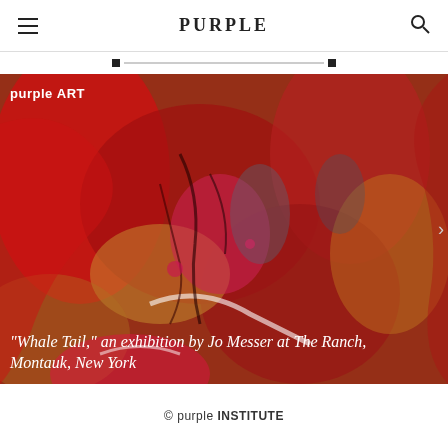PURPLE
[Figure (photo): Abstract expressionist painting with swirling red, crimson, pink, and gold brushstrokes depicting a figure. The painting is heavily textured with aggressive, gestural marks in deep reds and crimsons against a golden background. Text overlays include 'purple ART' in the upper left and an italic title in the lower left.]
"Whale Tail," an exhibition by Jo Messer at The Ranch, Montauk, New York
© purple INSTITUTE